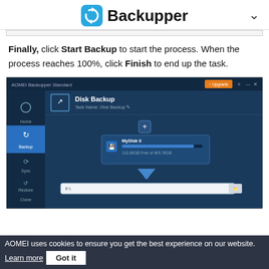Backupper
Finally, click Start Backup to start the process. When the process reaches 100%, click Finish to end up the task.
[Figure (screenshot): AOMEI Backupper Standard application window showing Disk Backup screen with a source disk (MyDisk 0) selected and a destination path field (F:\), with Home, Backup (active), Sync, Restore, Clone menu items on the left sidebar.]
AOMEI uses cookies to ensure you get the best experience on our website. Learn more   Got it